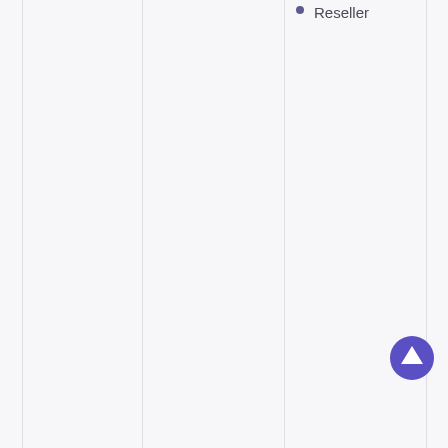Reseller
[Figure (illustration): Circular purple up-arrow navigation button in bottom-right area]